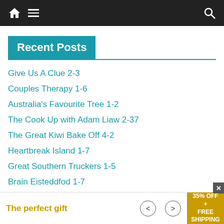Navigation bar with home, menu, and search icons
Recent Posts
Give Us A Clue 2-3
Couples Therapy 1-6
Australia's Favourite Tree 1-2
The Cook Up with Adam Liaw 2-37
The Great Kiwi Bake Off 4-2
Heartbreak Island 1-7
Great Southern Truckers 1-5
Brain Eisteddfod 1-7
The Cook Up with Adam Liaw 2-36
The perfect gift  35% OFF + FREE SHIPPING